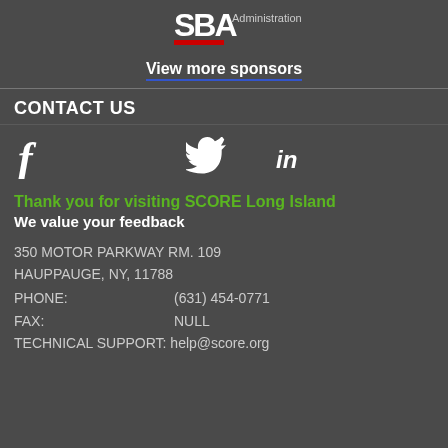[Figure (logo): SBA Small Business Administration logo with red underbar accent]
View more sponsors
CONTACT US
[Figure (infographic): Social media icons: Facebook (f), Twitter (bird), LinkedIn (in)]
Thank you for visiting SCORE Long Island
We value your feedback
350 MOTOR PARKWAY RM. 109
HAUPPAUGE, NY, 11788
PHONE:    (631) 454-0771
FAX:    NULL
TECHNICAL SUPPORT: help@score.org